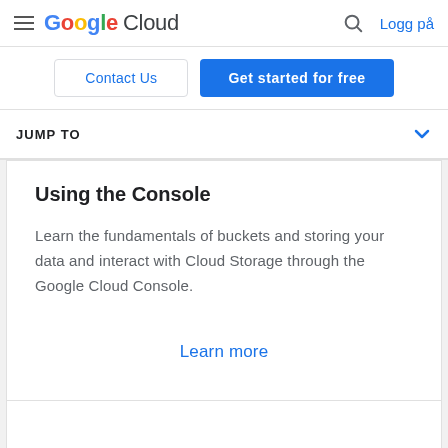Google Cloud — Logg på
Contact Us
Get started for free
JUMP TO
Using the Console
Learn the fundamentals of buckets and storing your data and interact with Cloud Storage through the Google Cloud Console.
Learn more